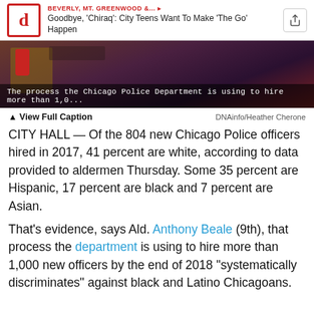BEVERLY, MT. GREENWOOD &... — Goodbye, 'Chiraq': City Teens Want To Make 'The Go' Happen
[Figure (photo): Blurred photo of police department setting with dark purple and red tones. A red cup visible on a table in the foreground.]
The process the Chicago Police Department is using to hire more than 1,0...
▲ View Full Caption    DNAinfo/Heather Cherone
CITY HALL — Of the 804 new Chicago Police officers hired in 2017, 41 percent are white, according to data provided to aldermen Thursday. Some 35 percent are Hispanic, 17 percent are black and 7 percent are Asian.
That's evidence, says Ald. Anthony Beale (9th), that process the department is using to hire more than 1,000 new officers by the end of 2018 "systematically discriminates" against black and Latino Chicagoans.